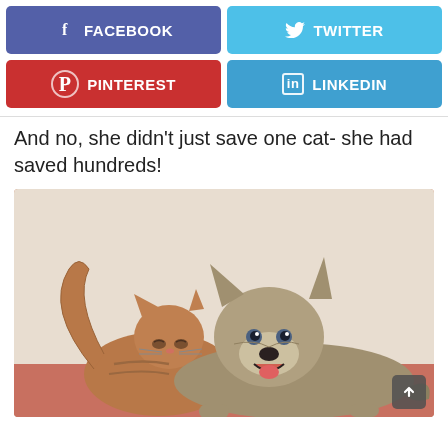[Figure (infographic): Social media share buttons: Facebook (purple), Twitter (blue), Pinterest (red), LinkedIn (blue)]
And no, she didn't just save one cat- she had saved hundreds!
[Figure (photo): Photo of a tabby cat and a dog (wolf-like breed) snuggled together on a red/pink surface against a light beige wall. The cat is leaning against the dog's face.]